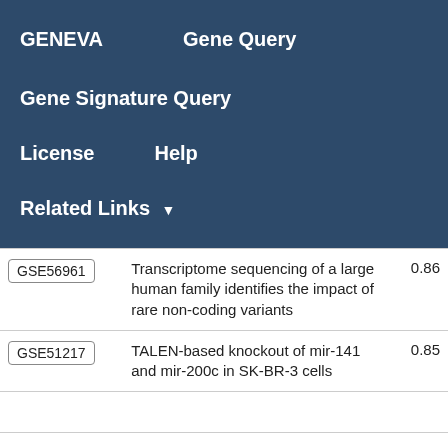GENEVA   Gene Query
Gene Signature Query
License   Help
Related Links ▾
| ID | Description | Score |
| --- | --- | --- |
| GSE56961 | Transcriptome sequencing of a large human family identifies the impact of rare non-coding variants | 0.86 |
| GSE51217 | TALEN-based knockout of mir-141 and mir-200c in SK-BR-3 cells | 0.85 |